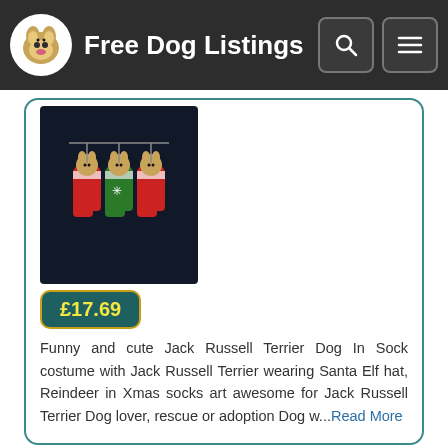Free Dog Listings
[Figure (photo): Product photo of a black t-shirt with Jack Russell Terrier dogs in Christmas socks/stockings design]
£17.69
Funny and cute Jack Russell Terrier Dog In Sock costume with Jack Russell Terrier wearing Santa Elf hat, Reindeer in Xmas socks art awesome for Jack Russell Terrier Dog lover, rescue or adoption Dog w...Read More